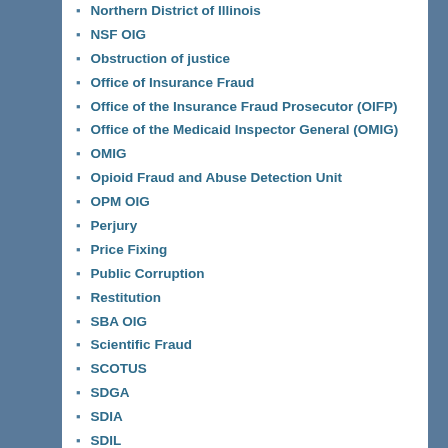Northern District of Illinois
NSF OIG
Obstruction of justice
Office of Insurance Fraud
Office of the Insurance Fraud Prosecutor (OIFP)
Office of the Medicaid Inspector General (OMIG)
OMIG
Opioid Fraud and Abuse Detection Unit
OPM OIG
Perjury
Price Fixing
Public Corruption
Restitution
SBA OIG
Scientific Fraud
SCOTUS
SDGA
SDIA
SDIL
SDIN
SDMI
Securities Fraud